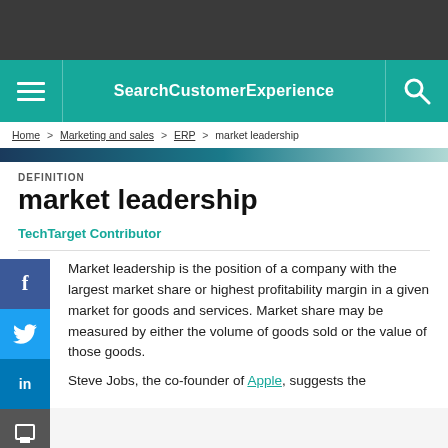SearchCustomerExperience
Home > Marketing and sales > ERP > market leadership
DEFINITION
market leadership
TechTarget Contributor
Market leadership is the position of a company with the largest market share or highest profitability margin in a given market for goods and services. Market share may be measured by either the volume of goods sold or the value of those goods.
Steve Jobs, the co-founder of Apple, suggests the